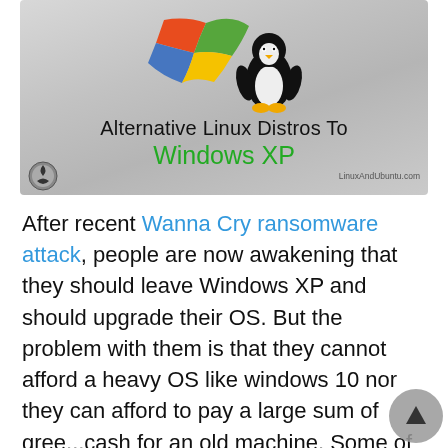[Figure (illustration): Banner image with Windows XP logo and Linux Tux penguin on a silver/grey gradient background, with title text 'Alternative Linux Distros To Windows XP' and LinuxAndUbuntu.com watermark]
After recent Wanna Cry ransomware attack, people are now awakening that they should leave Windows XP and should upgrade their OS. But the problem with them is that they cannot afford a heavy OS like windows 10 nor they can afford to pay a large sum of gree... cash for an old machine. Some of the guys